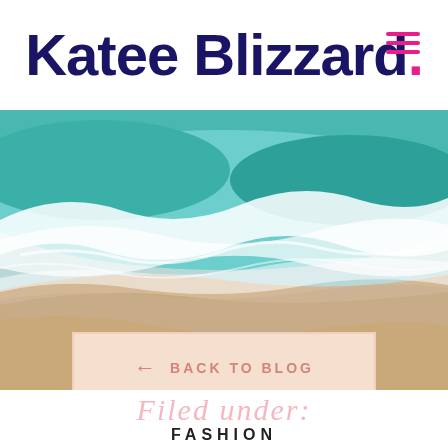Katee Blizzard.
[Figure (photo): Aerial view of ocean waves meeting sandy beach, turquoise water with white foam]
← BACK TO BLOG
Filed under:
FASHION